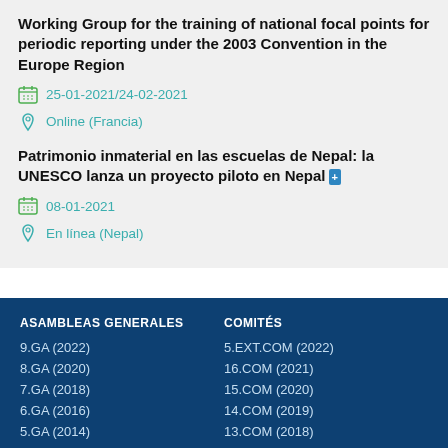Working Group for the training of national focal points for periodic reporting under the 2003 Convention in the Europe Region
25-01-2021/24-02-2021
Online (Francia)
Patrimonio inmaterial en las escuelas de Nepal: la UNESCO lanza un proyecto piloto en Nepal
08-01-2021
En línea (Nepal)
ASAMBLEAS GENERALES
9.GA (2022)
8.GA (2020)
7.GA (2018)
6.GA (2016)
5.GA (2014)
4.GA (2012)
3.GA (2010)
COMITÉS
5.EXT.COM (2022)
16.COM (2021)
15.COM (2020)
14.COM (2019)
13.COM (2018)
12.COM (2017)
11.COM (2016)